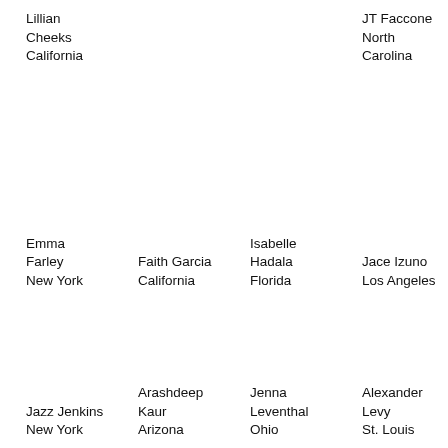Lillian Cheeks California
JT Faccone North Carolina
Emma Farley New York
Faith Garcia California
Isabelle Hadala Florida
Jace Izuno Los Angeles
Jazz Jenkins New York
Arashdeep Kaur Arizona
Jenna Leventhal Ohio
Alexander Levy St. Louis